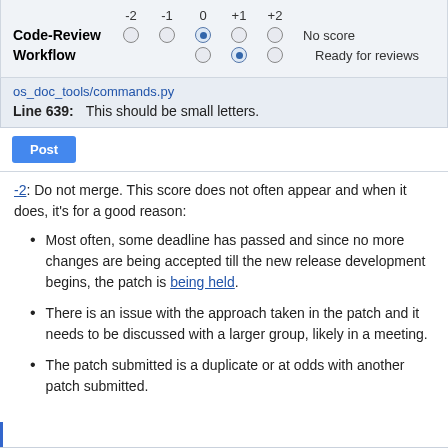| -2 | -1 | 0 | +1 | +2 |  |
| --- | --- | --- | --- | --- | --- |
| Code-Review | ○ | ○ | ● | ○ | ○ | No score |
| Workflow |  |  | ○ | ● | ○ | Ready for reviews |
os_doc_tools/commands.py
Line 639:    This should be small letters.
Post
-2: Do not merge. This score does not often appear and when it does, it's for a good reason:
Most often, some deadline has passed and since no more changes are being accepted till the new release development begins, the patch is being held.
There is an issue with the approach taken in the patch and it needs to be discussed with a larger group, likely in a meeting.
The patch submitted is a duplicate or at odds with another patch submitted.